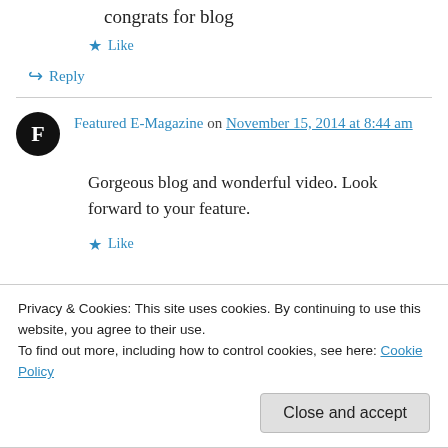congrats for blog
Like
↳ Reply
Featured E-Magazine on November 15, 2014 at 8:44 am
Gorgeous blog and wonderful video. Look forward to your feature.
Like
Privacy & Cookies: This site uses cookies. By continuing to use this website, you agree to their use. To find out more, including how to control cookies, see here: Cookie Policy